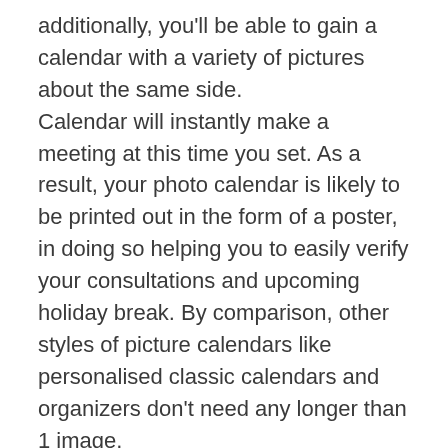additionally, you'll be able to gain a calendar with a variety of pictures about the same side. Calendar will instantly make a meeting at this time you set. As a result, your photo calendar is likely to be printed out in the form of a poster, in doing so helping you to easily verify your consultations and upcoming holiday break. By comparison, other styles of picture calendars like personalised classic calendars and organizers don't need any longer than 1 image. There are a variety of methods to create your personal calendar. Once you create your personal calendar you might find imaginative and add specific themes and design to certain weeks. The majority of us